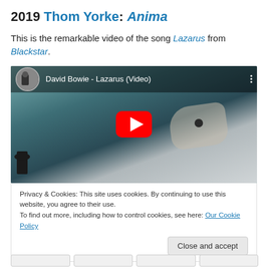2019 Thom Yorke: Anima
This is the remarkable video of the song Lazarus from Blackstar.
[Figure (screenshot): YouTube video embed showing 'David Bowie - Lazarus (Video)' with a thumbnail of a person lying down with bandages over their eyes, red YouTube play button in the center, video title bar at top with circular thumbnail and three-dot menu]
Privacy & Cookies: This site uses cookies. By continuing to use this website, you agree to their use.
To find out more, including how to control cookies, see here: Our Cookie Policy
Close and accept